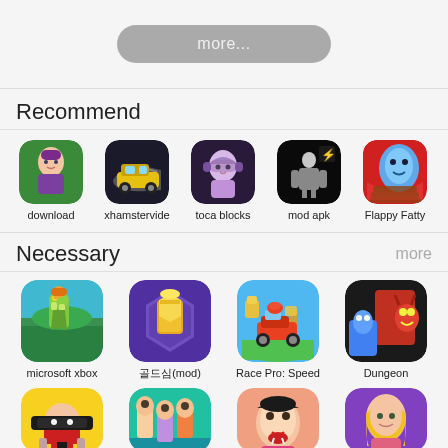[Figure (screenshot): More button - gray rounded rectangle with 'more...' text]
Recommend
[Figure (screenshot): Row of app icons: download, xhamstervide, toca blocks, mod apk, Flappy Fatty]
Necessary
[Figure (screenshot): Row of app icons: microsoft xbox, 골드심(mod), Race Pro: Speed, Dungeon]
[Figure (screenshot): Partial row of app icons at bottom]